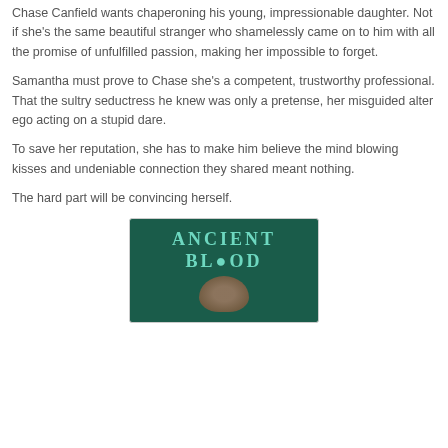Chase Canfield wants chaperoning his young, impressionable daughter. Not if she's the same beautiful stranger who shamelessly came on to him with all the promise of unfulfilled passion, making her impossible to forget.
Samantha must prove to Chase she's a competent, trustworthy professional. That the sultry seductress he knew was only a pretense, her misguided alter ego acting on a stupid dare.
To save her reputation, she has to make him believe the mind blowing kisses and undeniable connection they shared meant nothing.
The hard part will be convincing herself.
[Figure (illustration): Book cover for 'Ancient Blood' with teal/green title text on a dark teal background, with a face partially visible below the text]